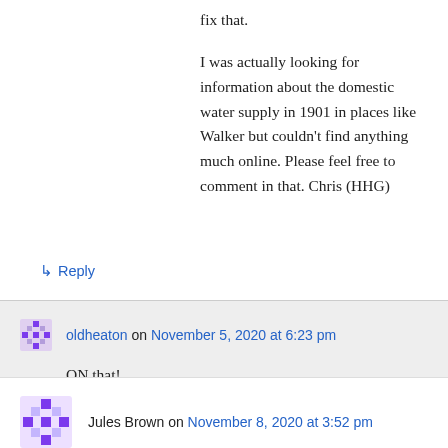fix that.
I was actually looking for information about the domestic water supply in 1901 in places like Walker but couldn’t find anything much online. Please feel free to comment in that. Chris (HHG)
↳ Reply
oldheaton on November 5, 2020 at 6:23 pm
ON that!
↳ Reply
Jules Brown on November 8, 2020 at 3:52 pm